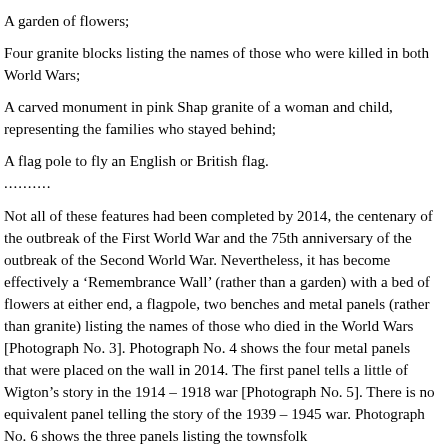A garden of flowers;
Four granite blocks listing the names of those who were killed in both World Wars;
A carved monument in pink Shap granite of a woman and child, representing the families who stayed behind;
A flag pole to fly an English or British flag.
..........
Not all of these features had been completed by 2014, the centenary of the outbreak of the First World War and the 75th anniversary of the outbreak of the Second World War. Nevertheless, it has become effectively a ‘Remembrance Wall’ (rather than a garden) with a bed of flowers at either end, a flagpole, two benches and metal panels (rather than granite) listing the names of those who died in the World Wars [Photograph No. 3]. Photograph No. 4 shows the four metal panels that were placed on the wall in 2014. The first panel tells a little of Wigton’s story in the 1914 – 1918 war [Photograph No. 5]. There is no equivalent panel telling the story of the 1939 – 1945 war. Photograph No. 6 shows the three panels listing the townsfolk